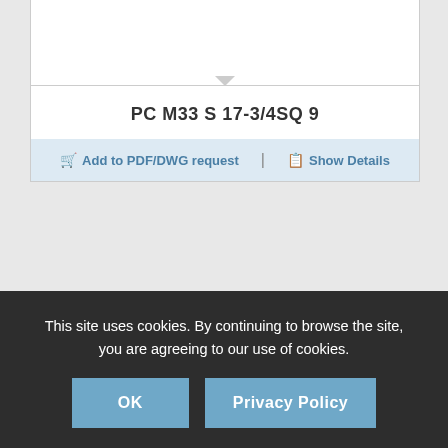[Figure (engineering-diagram): Technical drawing placeholder (blank white area with triangle pointer at bottom center)]
PC M33 S 17-3/4SQ 9
Add to PDF/DWG request | Show Details
[Figure (engineering-diagram): Engineering part technical drawing showing two views of a component]
This site uses cookies. By continuing to browse the site, you are agreeing to our use of cookies.
OK
Privacy Policy